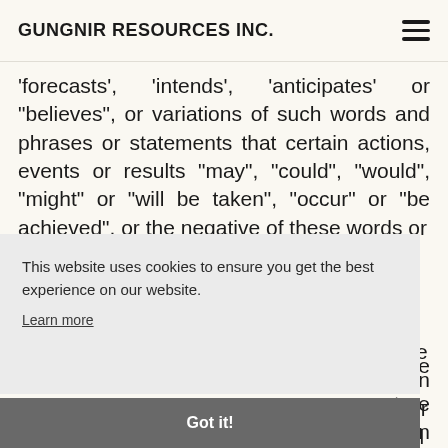GUNGNIR RESOURCES INC.
'forecasts', 'intends', 'anticipates' or "believes", or variations of such words and phrases or statements that certain actions, events or results "may", "could", "would", "might" or "will be taken", "occur" or "be achieved", or the negative of these words or [similar words of a forward-looking] nature [... known ... other ... actual ... materially ... ance ...]
This website uses cookies to ensure you get the best experience on our website.
Learn more
Got it!